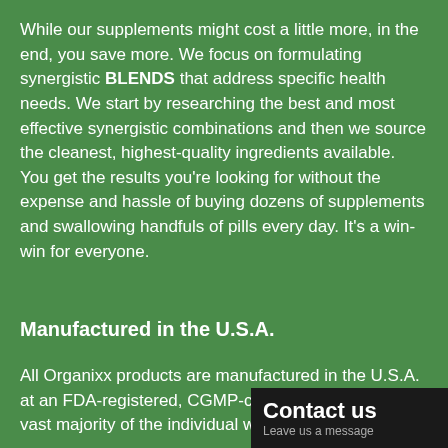While our supplements might cost a little more, in the end, you save more. We focus on formulating synergistic BLENDS that address specific health needs. We start by researching the best and most effective synergistic combinations and then we source the cleanest, highest-quality ingredients available. You get the results you're looking for without the expense and hassle of buying dozens of supplements and swallowing handfuls of pills every day. It's a win-win for everyone.
Manufactured in the U.S.A.
All Organixx products are manufactured in the U.S.A. at an FDA-registered, CGMP-compl... vast majority of the individual whole... specialty ingredients that...
[Figure (other): Contact us popup overlay in bottom-right corner with dark background, red left bar, bold white text 'Contact us' and subtitle 'Leave us a message']